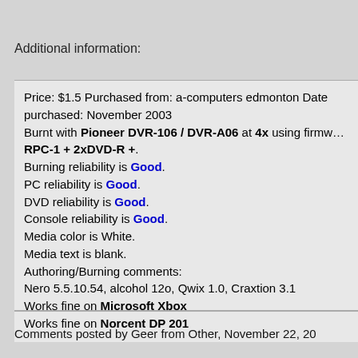Additional information:
Price: $1.5 Purchased from: a-computers edmonton Date purchased: November 2003
Burnt with Pioneer DVR-106 / DVR-A06 at 4x using firmware RPC-1 + 2xDVD-R +.
Burning reliability is Good.
PC reliability is Good.
DVD reliability is Good.
Console reliability is Good.
Media color is White.
Media text is blank.
Authoring/Burning comments:
Nero 5.5.10.54, alcohol 12o, Qwix 1.0, Craxtion 3.1
Works fine on Microsoft Xbox
Works fine on Norcent DP 201
Comments posted by Geer from Other, November 22, 20